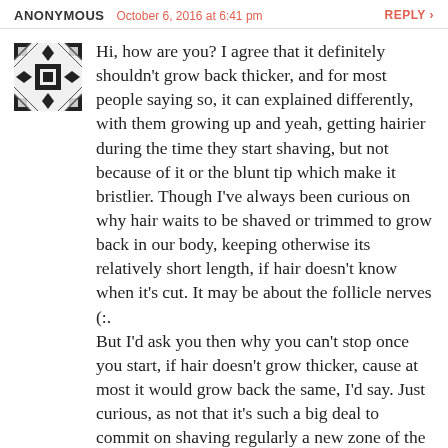ANONYMOUS  October 6, 2016 at 6:41 pm   REPLY
[Figure (illustration): Anonymous user avatar: a black and white geometric/mosaic pattern icon]
Hi, how are you? I agree that it definitely shouldn't grow back thicker, and for most people saying so, it can explained differently, with them growing up and yeah, getting hairier during the time they start shaving, but not because of it or the blunt tip which make it bristlier. Though I've always been curious on why hair waits to be shaved or trimmed to grow back in our body, keeping otherwise its relatively short length, if hair doesn't know when it's cut. It may be about the follicle nerves (:.
But I'd ask you then why you can't stop once you start, if hair doesn't grow thicker, cause at most it would grow back the same, I'd say. Just curious, as not that it's such a big deal to commit on shaving regularly a new zone of the body, personally I've never been afraid of that